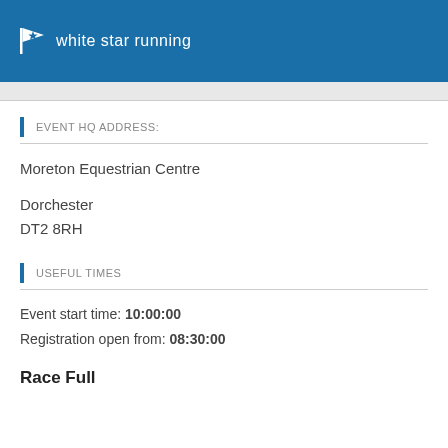white star running
EVENT HQ ADDRESS:
Moreton Equestrian Centre
Dorchester
DT2 8RH
USEFUL TIMES
Event start time: 10:00:00
Registration open from: 08:30:00
Race Full